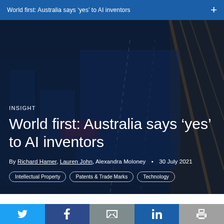World first: Australia says ‘yes’ to AI inventors
[Figure (photo): Aerial/overhead nighttime city photograph with illuminated roads and buildings, used as hero background image]
INSIGHT
World first: Australia says ‘yes’ to AI inventors
By Richard Hamer, Lauren John, Alexandra Moloney • 30 July 2021
Intellectual Property  Patents & Trade Marks  Technology